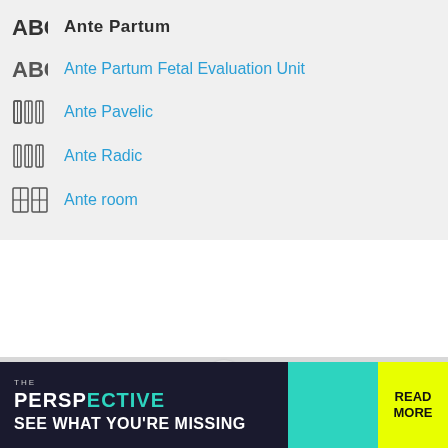Ante Partum
Ante Partum Fetal Evaluation Unit
Ante Pavelic
Ante Radic
Ante room
[Figure (other): Bottom navigation hamburger menu button on grey bar]
[Figure (other): Advertisement banner: THE PERSPECTIVE - SEE WHAT YOU'RE MISSING - READ MORE]